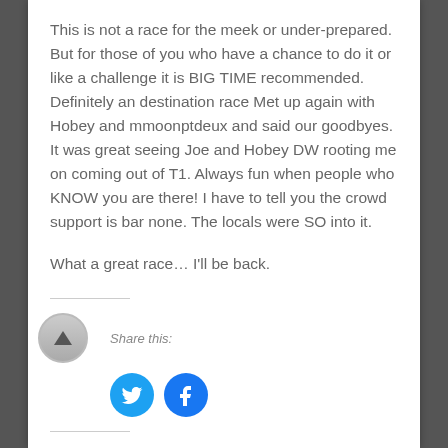This is not a race for the meek or under-prepared. But for those of you who have a chance to do it or like a challenge it is BIG TIME recommended. Definitely an destination race Met up again with Hobey and mmoonptdeux and said our goodbyes. It was great seeing Joe and Hobey DW rooting me on coming out of T1. Always fun when people who KNOW you are there! I have to tell you the crowd support is bar none. The locals were SO into it.
What a great race… I'll be back.
[Figure (other): Share this: section with a scroll-to-top button, Twitter bird icon, and Facebook icon]